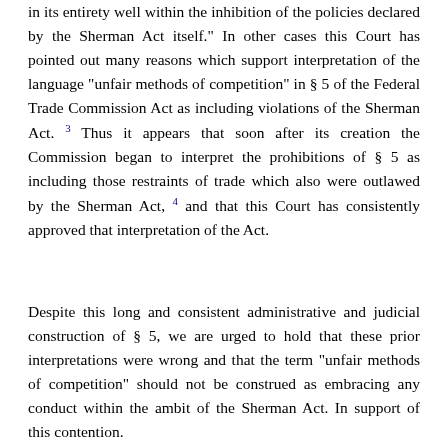in its entirety well within the inhibition of the policies declared by the Sherman Act itself." In other cases this Court has pointed out many reasons which support interpretation of the language "unfair methods of competition" in § 5 of the Federal Trade Commission Act as including violations of the Sherman Act. 3 Thus it appears that soon after its creation the Commission began to interpret the prohibitions of § 5 as including those restraints of trade which also were outlawed by the Sherman Act, 4 and that this Court has consistently approved that interpretation of the Act.
Despite this long and consistent administrative and judicial construction of § 5, we are urged to hold that these prior interpretations were wrong and that the term "unfair methods of competition" should not be construed as embracing any conduct within the ambit of the Sherman Act. In support of this contention.